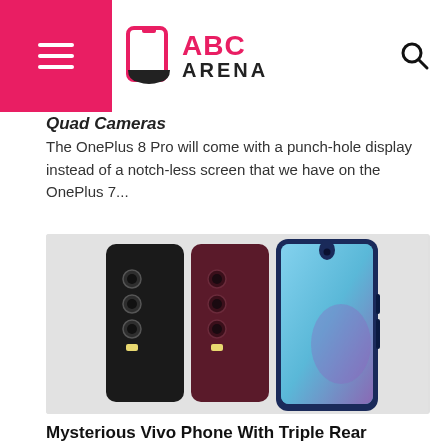ABC ARENA
Quad Cameras
The OnePlus 8 Pro will come with a punch-hole display instead of a notch-less screen that we have on the OnePlus 7...
[Figure (photo): Three Vivo smartphones shown side by side — two showing the back with triple rear cameras (black and dark red), and one showing the front with a blue gradient display and a waterdrop notch.]
Mysterious Vivo Phone With Triple Rear Cameras Surfaces on TENAA
Vivo U3 has been teased to debut with a Qualcomm Snapdragon 675 SoC. The Chinese company has released a teaser image through...